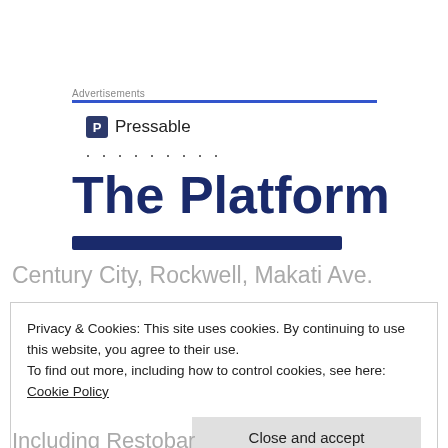Advertisements
[Figure (logo): Pressable logo with blue square icon containing letter P and text 'Pressable']
· · · · · · · · ·
The Platform
Century City, Rockwell, Makati Ave.
Privacy & Cookies: This site uses cookies. By continuing to use this website, you agree to their use.
To find out more, including how to control cookies, see here: Cookie Policy
Close and accept
Including Restobar